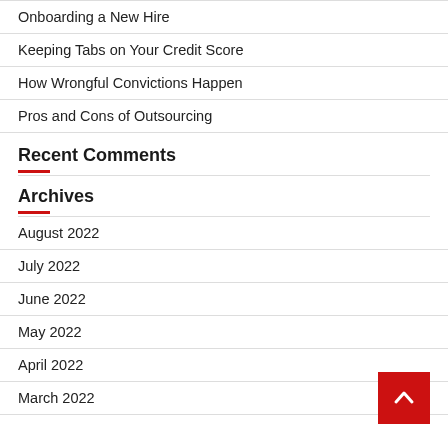Onboarding a New Hire
Keeping Tabs on Your Credit Score
How Wrongful Convictions Happen
Pros and Cons of Outsourcing
Recent Comments
Archives
August 2022
July 2022
June 2022
May 2022
April 2022
March 2022